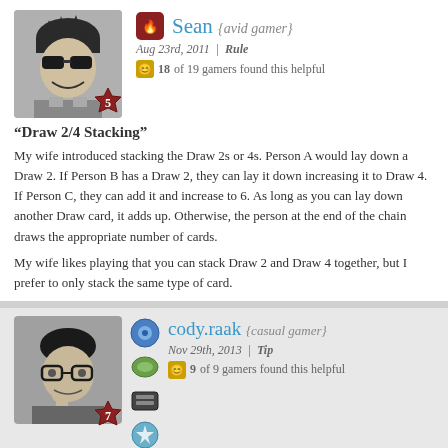[Figure (photo): Avatar photo of Sean, cartoon illustration of a man with sunglasses, with a red wax seal badge showing number 5]
Sean {avid gamer}
Aug 23rd, 2011 | Rule
18 of 19 gamers found this helpful
“Draw 2/4 Stacking”
My wife introduced stacking the Draw 2s or 4s. Person A would lay down a Draw 2. If Person B has a Draw 2, they can lay it down increasing it to Draw 4. If Person C, they can add it and increase to 6. As long as you can lay down another Draw card, it adds up. Otherwise, the person at the end of the chain draws the appropriate number of cards.
My wife likes playing that you can stack Draw 2 and Draw 4 together, but I prefer to only stack the same type of card.
[Figure (photo): Avatar photo of cody.raak, cartoon illustration of a man with glasses, with badges and a wax seal showing number 7]
cody.raak {casual gamer}
Nov 29th, 2013 | Tip
9 of 9 gamers found this helpful
“For tiny hands holding lots of cards”
My nephew has a hard time holding all the cards and seeing them all. Rather than play open-handed, laying all the cards out face-up on the table, his parents held onto a 2X4-